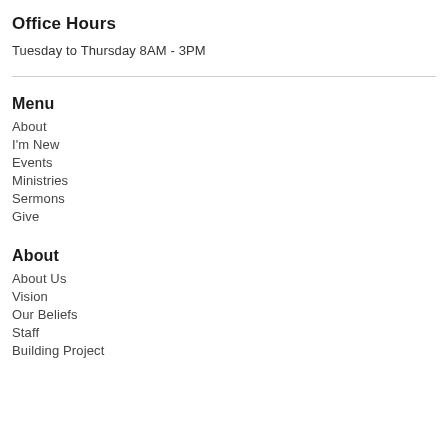Office Hours
Tuesday to Thursday 8AM - 3PM
Menu
About
I'm New
Events
Ministries
Sermons
Give
About
About Us
Vision
Our Beliefs
Staff
Building Project